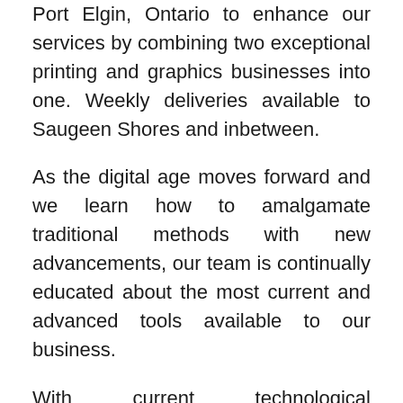Port Elgin, Ontario to enhance our services by combining two exceptional printing and graphics businesses into one. Weekly deliveries available to Saugeen Shores and inbetween.
As the digital age moves forward and we learn how to amalgamate traditional methods with new advancements, our team is continually educated about the most current and advanced tools available to our business.
With current technological enhancements and regular upgrades these areas continue to grow and develop. We are very fortunate to have employees driven by passion for what we do, and the roles that we fill. We believe this translates clearly to our clients.